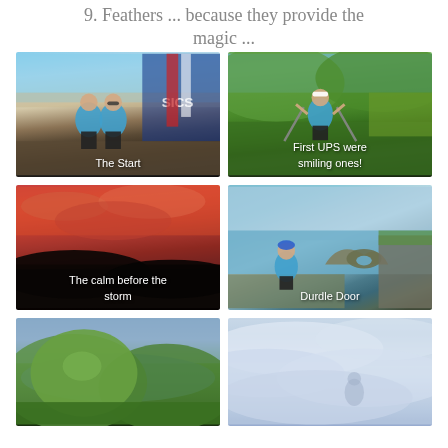9. Feathers ... because they provide the magic ...
[Figure (photo): Two runners in blue vests at race start, ASICS banner visible, sunny day]
The Start
[Figure (photo): Female runner with trekking poles on coastal path, green hills behind]
First UPS were smiling ones!
[Figure (photo): Dramatic red and pink sunset sky over dark landscape]
The calm before the storm
[Figure (photo): Female runner near Durdle Door coastal arch, blue sea visible]
Durdle Door
[Figure (photo): Green rolling hills landscape view]
[Figure (photo): Misty cloudy sky scene]